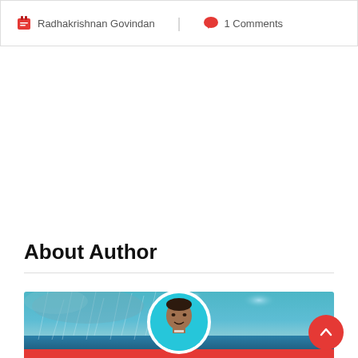Radhakrishnan Govindan | 1 Comments
About Author
[Figure (photo): Author profile card with a stormy sea/rain background image and a circular portrait photo of a young man in a teal sweater. A red bar appears at the bottom of the card.]